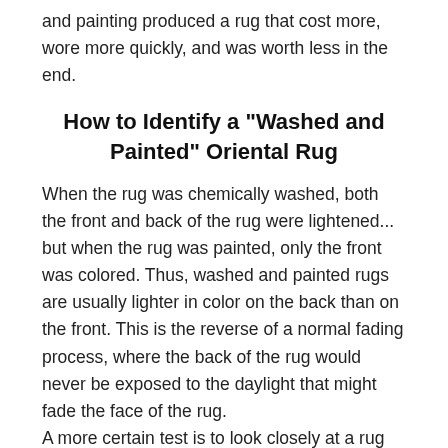and painting produced a rug that cost more, wore more quickly, and was worth less in the end.
How to Identify a "Washed and Painted" Oriental Rug
When the rug was chemically washed, both the front and back of the rug were lightened... but when the rug was painted, only the front was colored. Thus, washed and painted rugs are usually lighter in color on the back than on the front. This is the reverse of a normal fading process, where the back of the rug would never be exposed to the daylight that might fade the face of the rug.
A more certain test is to look closely at a rug which has been washed and painted. Sometimes the person doing the painting was sloppy, and "colored outside the lines", slopping dye into areas where it didn't belong. Look carefully at Photo 1, a picture of a